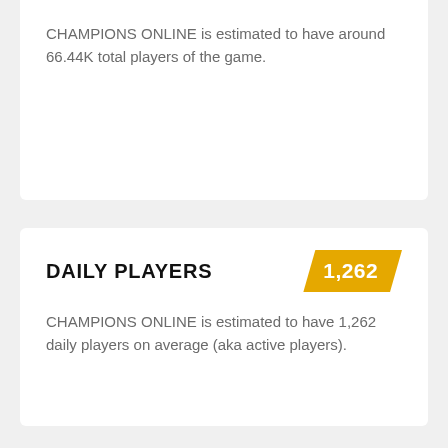CHAMPIONS ONLINE is estimated to have around 66.44K total players of the game.
DAILY PLAYERS
CHAMPIONS ONLINE is estimated to have 1,262 daily players on average (aka active players).